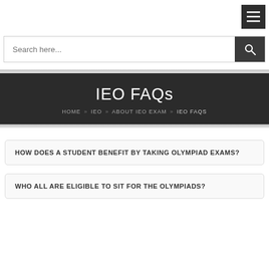Menu button / navigation header
Search here...
IEO FAQs
HOME » IEO » ABOUT IEO EXAM » IEO FAQS
HOW DOES A STUDENT BENEFIT BY TAKING OLYMPIAD EXAMS?
WHO ALL ARE ELIGIBLE TO SIT FOR THE OLYMPIADS?